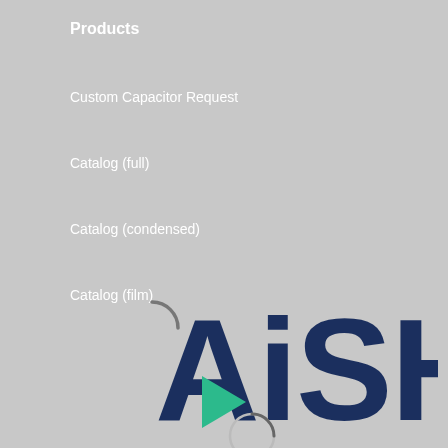Products
Custom Capacitor Request
Catalog (full)
Catalog (condensed)
Catalog (film)
[Figure (logo): AiSHi logo with navy blue text and a green/teal triangular arrow, tagline THINK AHEAD.]
About AiSHi
Sales Reps & Distribution
Manufacturing Locations
Contact
Engineering Support
Samples & RFQs